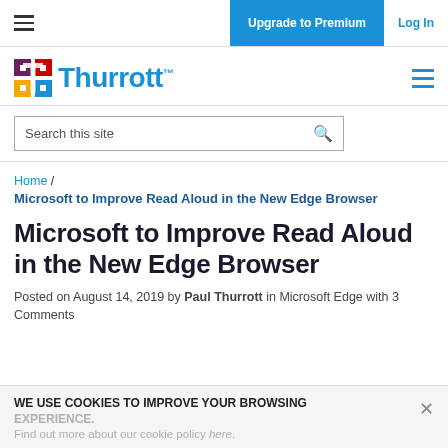Upgrade to Premium  Log In
[Figure (logo): Thurrott logo with colored square icon and blue Thurrott text]
Search this site
Home / Microsoft to Improve Read Aloud in the New Edge Browser
Microsoft to Improve Read Aloud in the New Edge Browser
Posted on August 14, 2019 by Paul Thurrott in Microsoft Edge with 3 Comments
WE USE COOKIES TO IMPROVE YOUR BROWSING EXPERIENCE. Find out more about our cookie policy here.